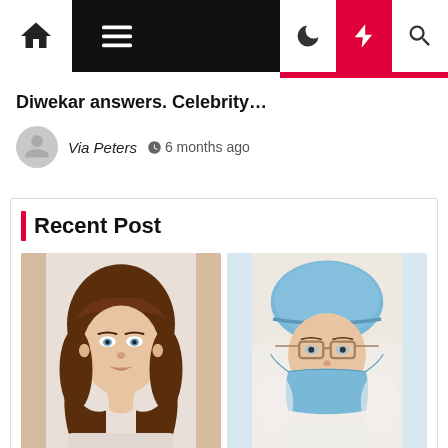Navigation bar with home, menu, moon, bolt, and search icons
Diwekar answers. Celebrity…
Via Peters  6 months ago
Recent Post
[Figure (photo): Two side-by-side photos: left shows a woman with brown wavy hair and bangs looking at camera; right shows the same or similar woman wearing a blue surgical cap, glasses, and a blue surgical mask pulled below nose, lying on a pillow in a medical setting.]